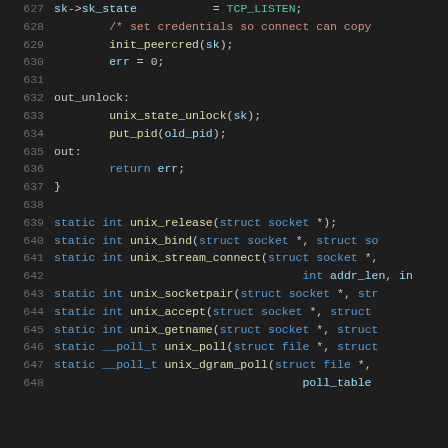[Figure (screenshot): Source code listing (C language) showing lines 627–648 of a Unix socket implementation, displayed in a dark-themed code editor. Lines include socket state assignment, credential initialization, label/return statements, closing brace, and static function declarations for unix_release, unix_bind, unix_stream_connect, unix_socketpair, unix_accept, unix_getname, unix_poll, unix_dgram_poll.]